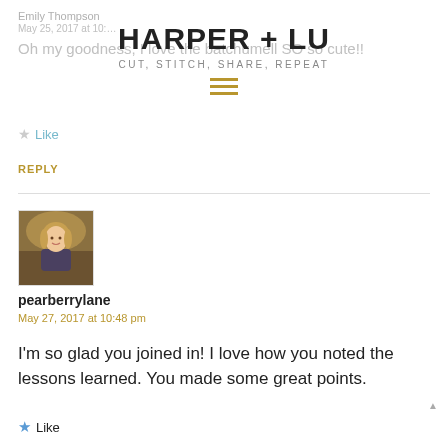HARPER + LU — CUT, STITCH, SHARE, REPEAT
Emily Thompson
May 25, 2017 at 10:… 
Oh my goodness, I love the batchumell SO so cute!!
Like
REPLY
pearberrylane
May 27, 2017 at 10:48 pm
I'm so glad you joined in! I love how you noted the lessons learned. You made some great points.
Like